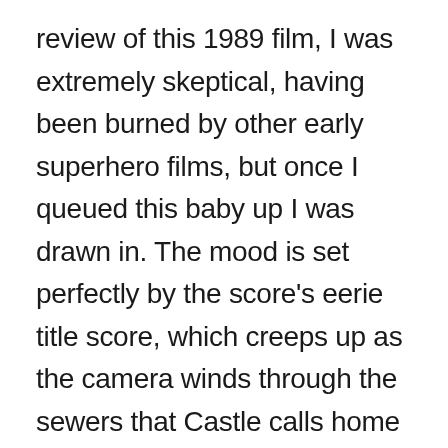review of this 1989 film, I was extremely skeptical, having been burned by other early superhero films, but once I queued this baby up I was drawn in. The mood is set perfectly by the score's eerie title score, which creeps up as the camera winds through the sewers that Castle calls home and suddenly into darkness broken only by stills of those whose lives he seeks as payment for the destruction of his family. The visuals then turn into a dizzying set of circles with background images that mimic traveling through a tunnel of violence and seedy activity.
It's a gaudy kind of grim that let me know